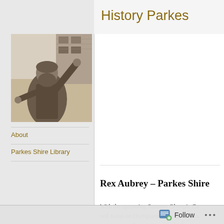History Parkes
[Figure (photo): Black and white photograph of a bearded man statue with arms raised, in front of a brick building]
About
Parkes Shire Library
Rex Aubrey – Parkes Shire
With the upcoming Summer Olympic Ga... will focus on Olympians from the Parkes sportsmen and sportswomen who have wo... at some point of their lives. The first spor... Parkes Shire is also the first Parkes Shire
[Figure (photo): Partial newspaper headline reading 'Parkes Sw' and partial second line 'St...']
Follow ...